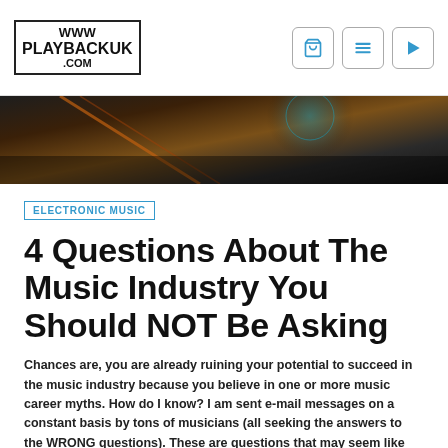WWW PLAYBACKUK .COM
[Figure (photo): Close-up dark image of a vinyl record or audio equipment with orange/brown tones and a teal circular highlight]
ELECTRONIC MUSIC
4 Questions About The Music Industry You Should NOT Be Asking
Chances are, you are already ruining your potential to succeed in the music industry because you believe in one or more music career myths. How do I know? I am sent e-mail messages on a constant basis by tons of musicians (all seeking the answers to the WRONG questions). These are questions that may seem like good questions on the surface, but are actually hindering your...